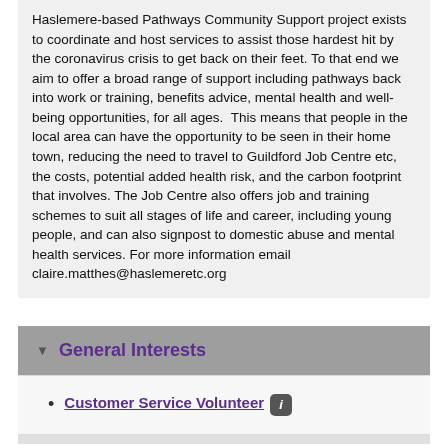Haslemere-based Pathways Community Support project exists to coordinate and host services to assist those hardest hit by the coronavirus crisis to get back on their feet. To that end we aim to offer a broad range of support including pathways back into work or training, benefits advice, mental health and well-being opportunities, for all ages.  This means that people in the local area can have the opportunity to be seen in their home town, reducing the need to travel to Guildford Job Centre etc, the costs, potential added health risk, and the carbon footprint that involves. The Job Centre also offers job and training schemes to suit all stages of life and career, including young people, and can also signpost to domestic abuse and mental health services. For more information email claire.matthes@haslemeretc.org
General Interests
Customer Service Volunteer